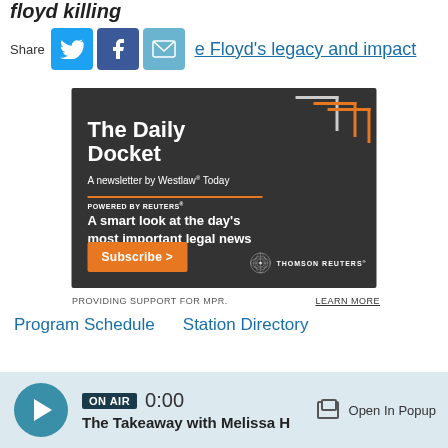floyd killing
Share
e Floyd's legacy and impact
[Figure (infographic): The Daily Docket advertisement by Westlaw Today, powered by Reuters. Dark background with orange bracket design. Text: 'A smart look at the day's most important legal news and headlines.' Orange Subscribe button. Thomson Reuters logo.]
PROVIDING SUPPORT FOR MPR.
LEARN MORE
Program Schedule    Station Directory
ON AIR  0:00  The Takeaway with Melissa H    Open In Popup